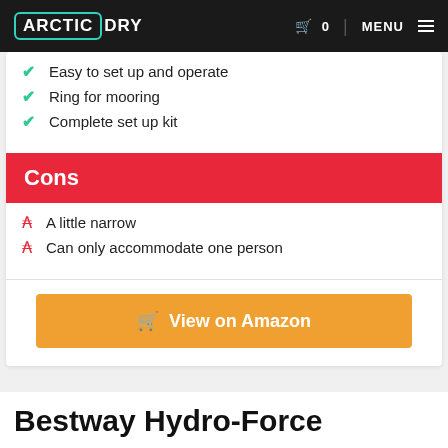ARCTIC DRY | 0 MENU
Easy to set up and operate
Ring for mooring
Complete set up kit
Cons
A little narrow
Can only accommodate one person
View on Amazon
Bestway Hydro-Force